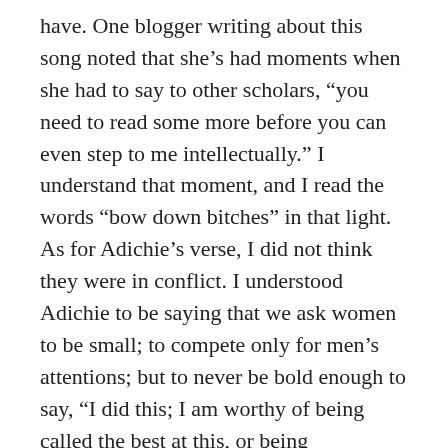have. One blogger writing about this song noted that she's had moments when she had to say to other scholars, “you need to read some more before you can even step to me intellectually.” I understand that moment, and I read the words “bow down bitches” in that light. As for Adichie’s verse, I did not think they were in conflict. I understood Adichie to be saying that we ask women to be small; to compete only for men’s attentions; but to never be bold enough to say, “I did this; I am worthy of being called the best at this, or being recognized for my hard work here. And that doesn’t make me a bitch, or a ball buster, or unattractive, or un-feminine, or arrogant.” So, when you line that up with Beyonce’s assertion that she is the baddest B in the room, it’s not all that dissonant.
–I didn’t read the Monica Lewinsky reference so